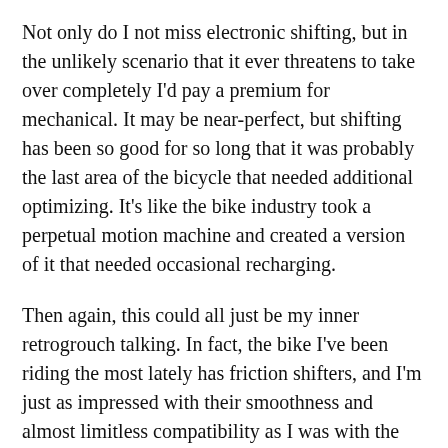Not only do I not miss electronic shifting, but in the unlikely scenario that it ever threatens to take over completely I'd pay a premium for mechanical. It may be near-perfect, but shifting has been so good for so long that it was probably the last area of the bicycle that needed additional optimizing. It's like the bike industry took a perpetual motion machine and created a version of it that needed occasional recharging.
Then again, this could all just be my inner retrogrouch talking. In fact, the bike I've been riding the most lately has friction shifters, and I'm just as impressed with their smoothness and almost limitless compatibility as I was with the electrified precision of my Di2 group. But I'd also miss them a hell of a lot more than the Di2 if they were gone.
Lead Photo: Paul Jones/Fairfax Media/Getty Images